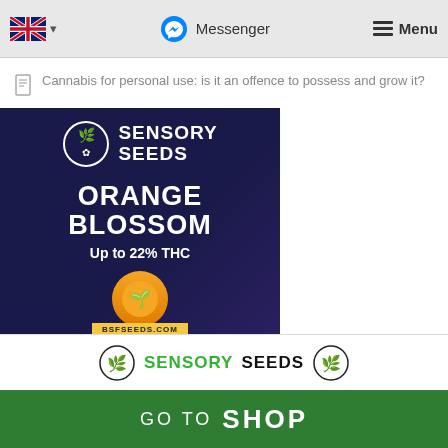🇬🇧 ▾   Messenger   ≡ Menu
Cannabis for personal use: is it an offence to possess and grow it?
[Figure (illustration): Advertisement for Sensory Seeds - Orange Blossom strain, Up to 22% THC, showing BSFSEEDS.COM branding on dark blue/purple background]
[Figure (logo): Sensory Seeds logo with green leaf icons on white background]
GO TO SHOP